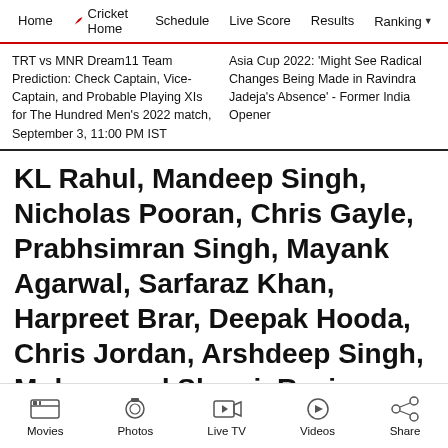Home  Cricket Home  Schedule  Live Score  Results  Ranking
TRT vs MNR Dream11 Team Prediction: Check Captain, Vice-Captain, and Probable Playing XIs for The Hundred Men's 2022 match, September 3, 11:00 PM IST
Asia Cup 2022: 'Might See Radical Changes Being Made in Ravindra Jadeja's Absence' - Former India Opener
KL Rahul, Mandeep Singh, Nicholas Pooran, Chris Gayle, Prabhsimran Singh, Mayank Agarwal, Sarfaraz Khan, Harpreet Brar, Deepak Hooda, Chris Jordan, Arshdeep Singh, Mohammed Shami, Ravi Bishnoi, Ishan Porel, Murugan Ashwin, Darshan Nalkande.
Movies  Photos  Live TV  Videos  Share